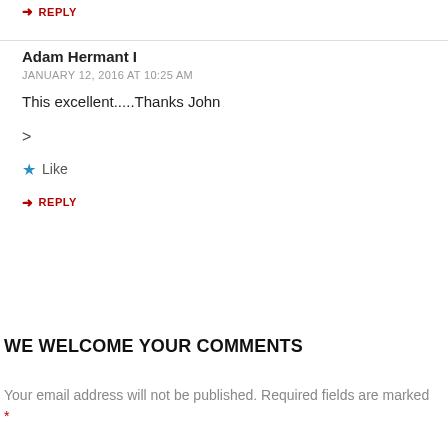↪ REPLY
Adam Hermant I
JANUARY 12, 2016 AT 10:25 AM
This excellent.....Thanks John
>
★ Like
↪ REPLY
WE WELCOME YOUR COMMENTS
Your email address will not be published. Required fields are marked *